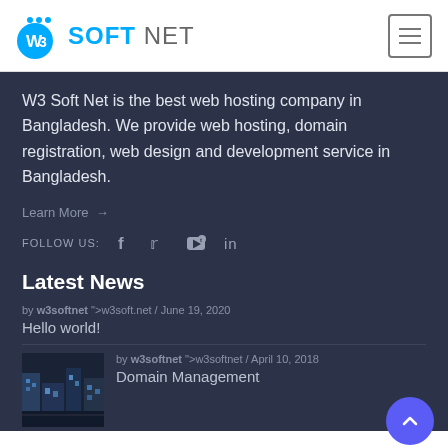W3 Soft Net logo and navigation hamburger menu
W3 Soft Net is the best web hosting company in Bangladesh. We provide web hosting, domain registration, web design and development service in Bangladesh.
Learn More →
FOLLOW US: f (facebook) (twitter) (youtube) in (linkedin)
Latest News
by w3softnet ">w3soft.net / June 19, 2020
Hello world!
by w3softnet ">w3softnet / April 10, 2018
Domain Management
[Figure (photo): Thumbnail image for Domain Management article showing city/tech scene]